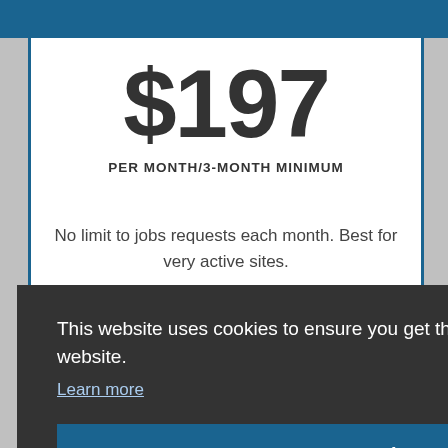$197
PER MONTH/3-MONTH MINIMUM
No limit to jobs requests each month. Best for very active sites.
This website uses cookies to ensure you get the best experience on our website.
Learn more
Got it